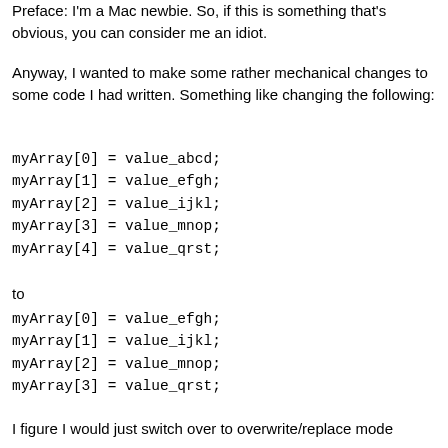Preface: I'm a Mac newbie. So, if this is something that's obvious, you can consider me an idiot.
Anyway, I wanted to make some rather mechanical changes to some code I had written. Something like changing the following:
myArray[0] = value_abcd;
myArray[1] = value_efgh;
myArray[2] = value_ijkl;
myArray[3] = value_mnop;
myArray[4] = value_qrst;
to
myArray[0] = value_efgh;
myArray[1] = value_ijkl;
myArray[2] = value_mnop;
myArray[3] = value_qrst;
I figure I would just switch over to overwrite/replace mode